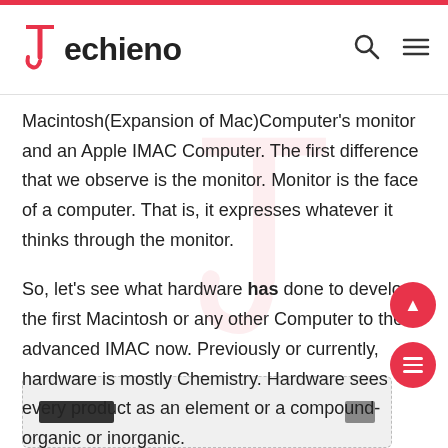Techieno
Macintosh(Expansion of Mac)Computer’s monitor and an Apple IMAC Computer. The first difference that we observe is the monitor. Monitor is the face of a computer. That is, it expresses whatever it thinks through the monitor.
So, let’s see what hardware has done to develop the first Macintosh or any other Computer to the advanced IMAC now. Previously or currently, hardware is mostly Chemistry. Hardware sees every product as an element or a compound-organic or inorganic.
[Figure (photo): Bottom portion of a computer hardware image, partially visible, showing a dark bar on the left and a small square element on the right, on a light background with a dashed border.]